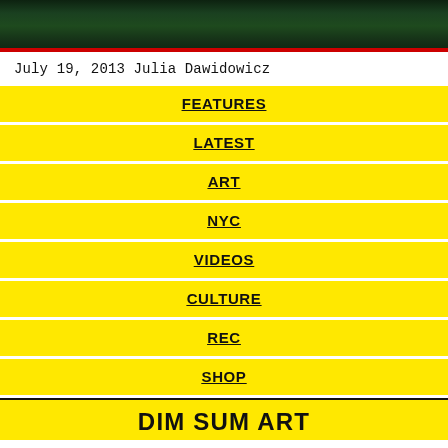[Figure (photo): Dark green forest/trees photograph strip with red border at bottom]
July 19, 2013 Julia Dawidowicz
FEATURES
LATEST
ART
NYC
VIDEOS
CULTURE
REC
SHOP
DIM SUM ART